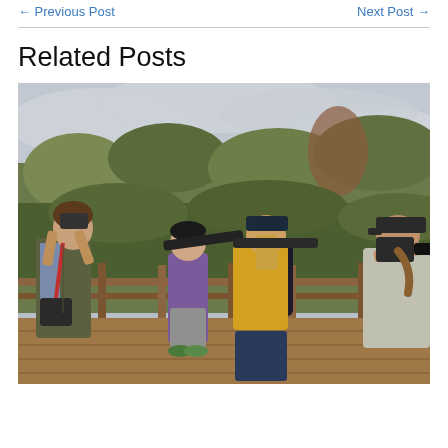← Previous Post    Next Post →
Related Posts
[Figure (photo): Group of birdwatchers/photographers on a wooden boardwalk platform, using cameras and telescopes/spotting scopes to observe birds. Overcast sky, autumn foliage and shrubs in background. Four people visible: person on left in vest with camera and binoculars, child in purple in center back, woman in yellow jacket with black backpack using spotting scope, person in baseball cap on far right with camera.]